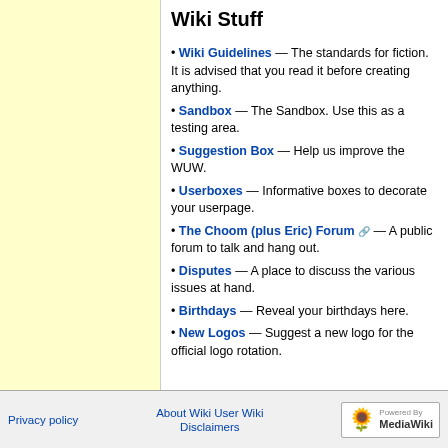Wiki Stuff
Wiki Guidelines — The standards for fiction. It is advised that you read it before creating anything.
Sandbox — The Sandbox. Use this as a testing area.
Suggestion Box — Help us improve the WUW.
Userboxes — Informative boxes to decorate your userpage.
The Choom (plus Eric) Forum [external link] — A public forum to talk and hang out.
Disputes — A place to discuss the various issues at hand.
Birthdays — Reveal your birthdays here.
New Logos — Suggest a new logo for the official logo rotation.
Privacy policy   About Wiki User Wiki   Disclaimers   Powered by MediaWiki